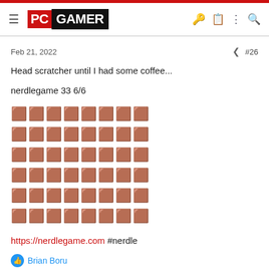[Figure (logo): PC Gamer logo with red PC block and black GAMER block, with hamburger menu and nav icons]
Feb 21, 2022  #26
Head scratcher until I had some coffee...
nerdlegame 33 6/6
[Figure (other): Nerdle game result grid showing 6 rows of 8 colored squares each — dark squares representing game state]
https://nerdlegame.com #nerdle
Brian Boru